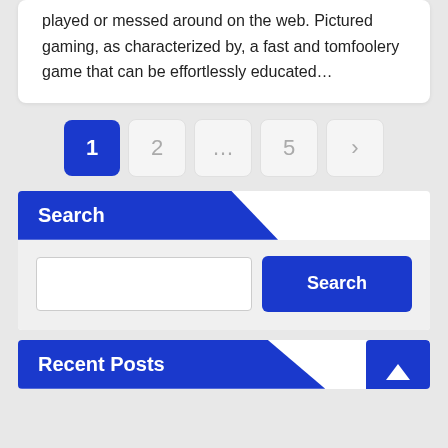played or messed around on the web. Pictured gaming, as characterized by, a fast and tomfoolery game that can be effortlessly educated...
1
2
...
5
>
Search
Search
Recent Posts